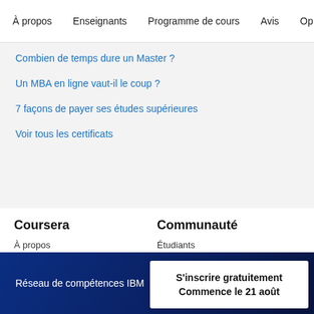À propos   Enseignants   Programme de cours   Avis   Op
Combien de temps dure un Master ?
Un MBA en ligne vaut-il le coup ?
7 façons de payer ses études supérieures
Voir tous les certificats
Coursera
Communauté
À propos
Étudiants
Ce que nous proposons
Partenaires
Réseau de compétences IBM
S'inscrire gratuitement
Commence le 21 août